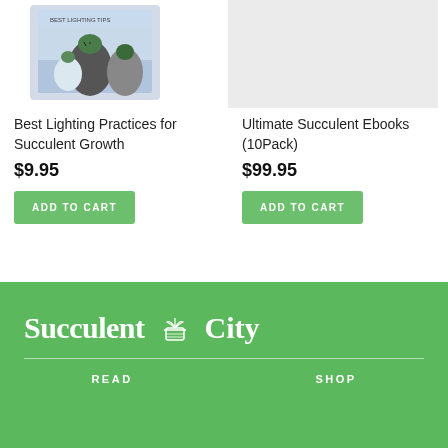[Figure (photo): Product image of a book about succulent lighting practices, showing potted succulents]
Best Lighting Practices for Succulent Growth
$9.95
ADD TO CART
[Figure (photo): Light gray placeholder image for Ultimate Succulent Ebooks product]
Ultimate Succulent Ebooks (10Pack)
$99.95
ADD TO CART
[Figure (logo): Succulent City logo with plant pot icon, white text on green background]
READ
SHOP